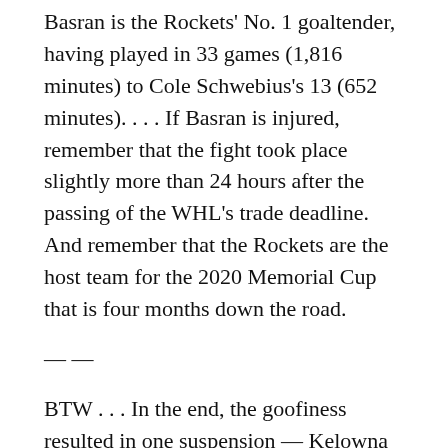Basran is the Rockets' No. 1 goaltender, having played in 33 games (1,816 minutes) to Cole Schwebius's 13 (652 minutes). . . . If Basran is injured, remember that the fight took place slightly more than 24 hours after the passing of the WHL's trade deadline. And remember that the Rockets are the host team for the 2020 Memorial Cup that is four months down the road.
— —
BTW . . . In the end, the goofiness resulted in one suspension — Kelowna D Kaedan Korczak got three games — and fines totalling $4,500, with the Rockets dinged for $3,000 of that. . . .